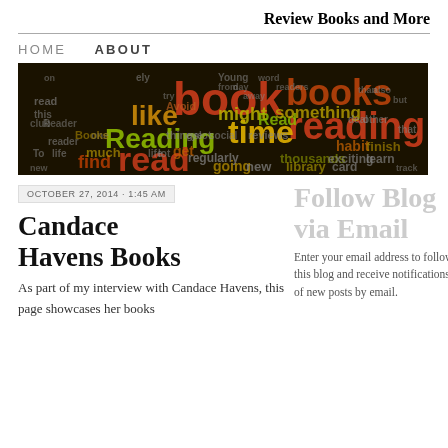Review Books and More
HOME   ABOUT
[Figure (illustration): Word cloud banner on dark background featuring words related to reading and books. Prominent words include 'book', 'books', 'reading', 'like', 'Reading', 'time', 'read', 'something', 'find', 'much', 'get', 'Books', 'thousands', 'library', 'habit', 'finish', 'exciting', 'learn', 'might', 'Avoid', 'regularly', 'going', 'new', 'one', and many smaller words, in colors of orange, red, yellow, and green on black background.]
OCTOBER 27, 2014 · 1:45 AM
Candace Havens Books
As part of my interview with Candace Havens, this page showcases her books
Follow Blog via Email
Enter your email address to follow this blog and receive notifications of new posts by email.